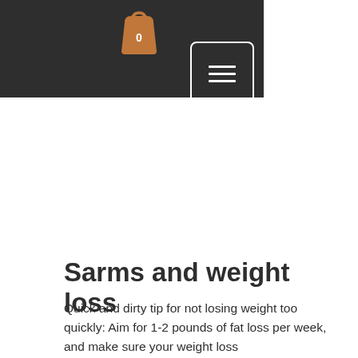[Figure (screenshot): Dark navigation header bar with an orange shopping bag icon showing '0' and a hamburger menu button with white border and three white horizontal lines]
Sarms and weight loss
Quick and dirty tip for not losing weight too quickly: Aim for 1-2 pounds of fat loss per week, and make sure your weight loss